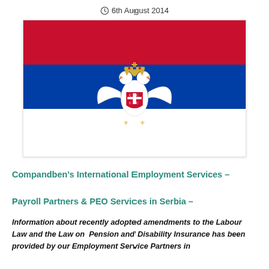6th August 2014
[Figure (illustration): Serbian national flag with red, blue, and white horizontal stripes and the Serbian coat of arms (white double-headed eagle with red shield, gold crown, and gold fleur-de-lis) centered on the flag.]
Compandben's International Employment Services – Payroll Partners & PEO Services in Serbia –
Information about recently adopted amendments to the Labour Law and the Law on Pension and Disability Insurance has been provided by our Employment Service Partners in